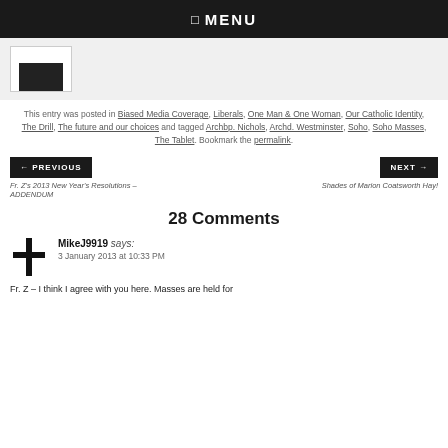☰ MENU
[Figure (photo): Thumbnail image with dark content, displayed on a light gray background strip]
This entry was posted in Biased Media Coverage, Liberals, One Man & One Woman, Our Catholic Identity, The Drill, The future and our choices and tagged Archbp. Nichols, Archd. Westminster, Soho, Soho Masses, The Tablet. Bookmark the permalink.
← PREVIOUS
Fr. Z's 2013 New Year's Resolutions – ADDENDUM
NEXT →
Shades of Marion Coatsworth Hay!
28 Comments
MikeJ9919 says:
3 January 2013 at 10:33 PM
Fr. Z – I think I agree with you here. Masses are held for